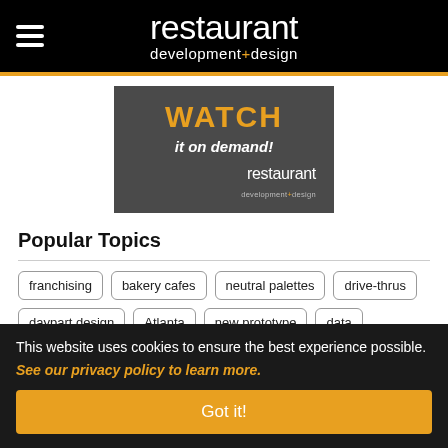restaurant development+design
[Figure (screenshot): Advertisement banner with dark gray background showing 'WATCH it on demand!' text and restaurant development+design logo]
Popular Topics
franchising
bakery cafes
neutral palettes
drive-thrus
daypart design
Atlanta
new prototype
data
This website uses cookies to ensure the best experience possible. See our privacy policy to learn more. Got it!